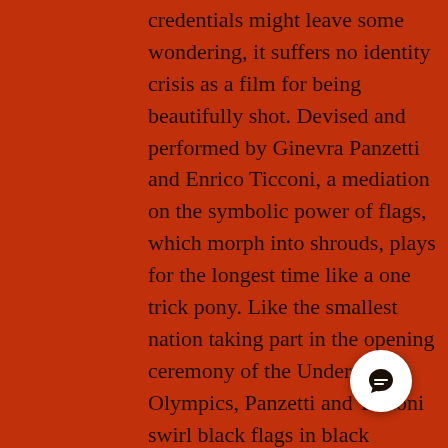credentials might leave some wondering, it suffers no identity crisis as a film for being beautifully shot. Devised and performed by Ginevra Panzetti and Enrico Ticconi, a mediation on the symbolic power of flags, which morph into shrouds, plays for the longest time like a one trick pony. Like the smallest nation taking part in the opening ceremony of the Underworld Olympics, Panzetti and Ticconi swirl black flags in black costumes as they undertake a slow, laborious journey through a corridor of arches. Reverting to the same rising, waving, lying down pattern that overplays its hand, at twenty minutes the work seems durational, feeling ten minutes too long. Yet, midway, it spreads its wings and becomes visually and performatively intriguing, beginning with a superb